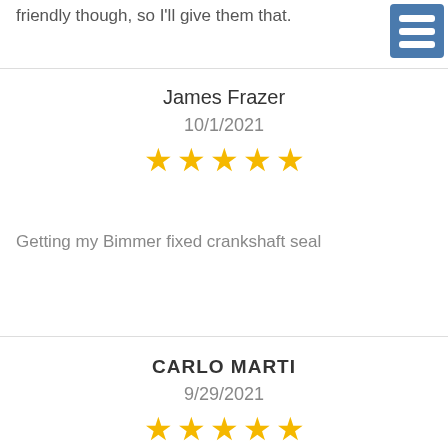friendly though, so I'll give them that.
James Frazer
10/1/2021
[Figure (other): 5 gold stars rating]
Getting my Bimmer fixed crankshaft seal
CARLO MARTI
9/29/2021
[Figure (other): 5 gold stars rating]